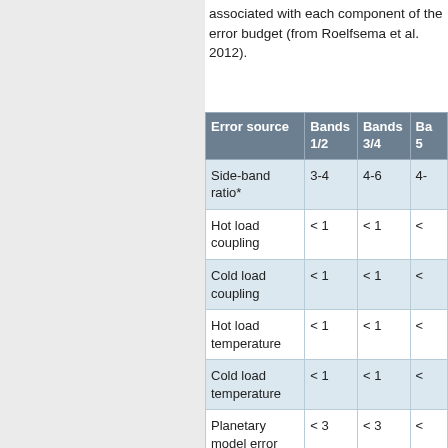associated with each component of the error budget (from Roelfsema et al. 2012).
| Error source | Bands 1/2 | Bands 3/4 | Bands 5 |
| --- | --- | --- | --- |
| Side-band ratio* | 3-4 | 4-6 | 4- |
| Hot load coupling | < 1 | < 1 | < |
| Cold load coupling | < 1 | < 1 | < |
| Hot load temperature | < 1 | < 1 | < |
| Cold load temperature | < 1 | < 1 | < |
| Planetary model error | < 3 | < 3 | < |
| Beam efficiency | < 5 | < 5 | < 1 |